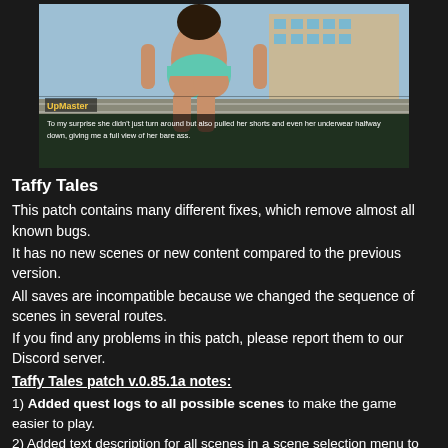[Figure (screenshot): Screenshot from visual novel game 'Taffy Tales' showing an anime-style character from behind, with subtitle text overlay. UpMaster label visible. Subtitle reads: 'To my surprise she didn't just turn around but also pulled her shorts and even her underwear halfway down, giving me a full view of her bare ass.']
Taffy Tales
This patch contains many different fixes, which remove almost all known bugs.
It has no new scenes or new content compared to the previous version.
All saves are incompatible because we changed the sequence of scenes in several routes.
If you find any problems in this patch, please report them to our Discord server.
Taffy Tales patch v.0.85.1a notes:
1) Added quest logs to all possible scenes to make the game easier to play.
2) Added text description for all scenes in a scene selection menu to prevent the “no text” button.
3) Restored the correct sequence of the scenes in Becca's route.